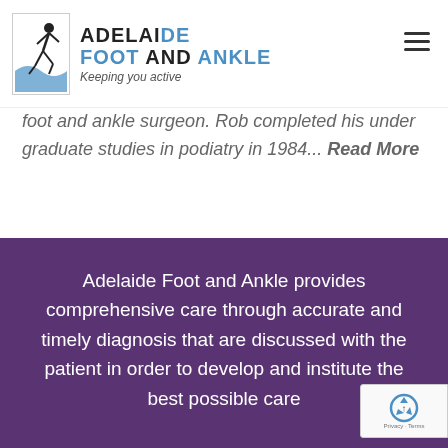ADELAIDE FOOT AND ANKLE — Keeping you active
foot and ankle surgeon. Rob completed his under graduate studies in podiatry in 1984... Read More
Adelaide Foot and Ankle provides comprehensive care through accurate and timely diagnosis that are discussed with the patient in order to develop and institute the best possible care